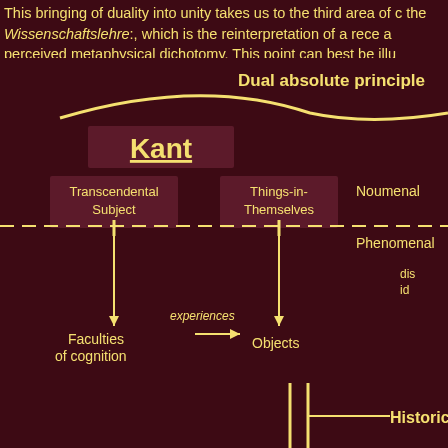This bringing of duality into unity takes us to the third area of c the Wissenschaftslehre:, which is the reinterpretation of a rece a perceived metaphysical dichotomy. This point can best be illu
[Figure (flowchart): Philosophical diagram showing Kant's system with nodes: 'Dual absolute principle' at top connected by a curved yellow line; 'Kant' as central node (underlined, large); 'Transcendental Subject' and 'Things-in-Themselves' as boxes; 'Noumenal' and 'Phenomenal' labels separated by a dashed horizontal line; 'Faculties of cognition' and 'Objects' as nodes connected by arrows labeled 'experiences'; 'Historical development' label at bottom right connected by a horizontal line; two vertical parallel lines at bottom center; partial text 'dis... id...' at right.]